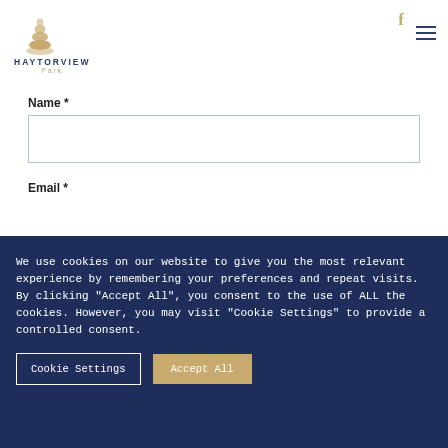[Figure (logo): HaytorView Park logo with stacked stones icon above the text 'HAYTORVIEW' and 'Park' in gold below]
Name *
Email *
We use cookies on our website to give you the most relevant experience by remembering your preferences and repeat visits. By clicking "Accept All", you consent to the use of ALL the cookies. However, you may visit "Cookie Settings" to provide a controlled consent.
Cookie Settings
Accept All